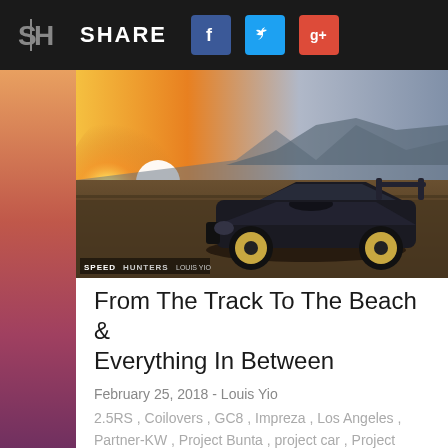SHARE
[Figure (photo): Dark Subaru Impreza GC8 WRX/2.5RS at dusk on a track, golden sunset in background, SPEEDHUNTERS | LOUIS YIO watermark in lower left]
From The Track To The Beach & Everything In Between
February 25, 2018 - Louis Yio
2.5RS , Coilovers , GC8 , Impreza , Los Angeles , Partner-KW , Project Bunta , project car , Project Cars , SH Garage , Speedhunters Project Cars , st , ST suspensions , ST XTA , Subaru , WRX